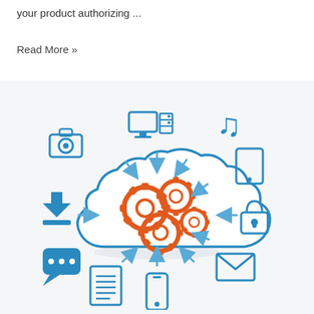your product authorizing ...
Read More »
[Figure (illustration): Cloud computing infographic: a blue outlined cloud filled with orange interlocking gears at the center, surrounded by blue arrows pointing to/from various device and media icons: monitor and server tower (top center), musical note (top right), tablet (right), padlock (right), envelope (bottom right), smartphone (bottom center), document (bottom left), speech bubble with dots (left), download icon (left), camera (top left). Arrows connect the cloud to each surrounding icon.]